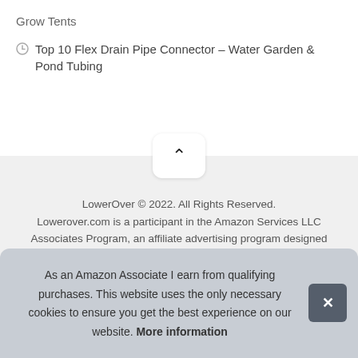Grow Tents
Top 10 Flex Drain Pipe Connector – Water Garden & Pond Tubing
[Figure (other): Scroll-to-top button with chevron up arrow on light grey background]
LowerOver © 2022. All Rights Reserved. Lowerover.com is a participant in the Amazon Services LLC Associates Program, an affiliate advertising program designed to provide a means for sites to earn advertising fees by
As an Amazon Associate I earn from qualifying purchases. This website uses the only necessary cookies to ensure you get the best experience on our website. More information